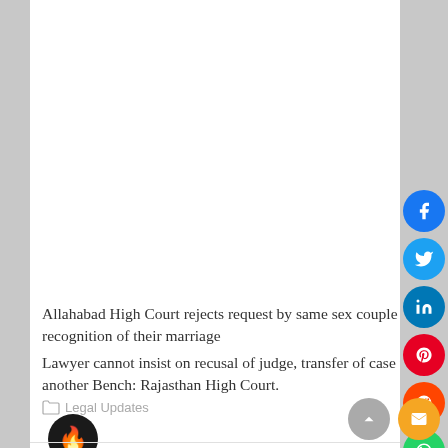[Figure (other): Advertisement or image placeholder area, white background]
Allahabad High Court rejects request by same sex couple for recognition of their marriage
Lawyer cannot insist on recusal of judge, transfer of case to another Bench: Rajasthan High Court.
Legal Updates
Maintenance is given from the date of